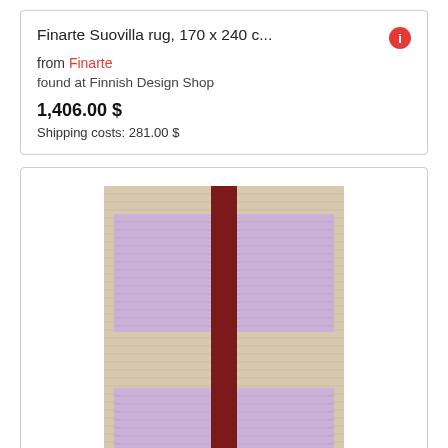Finarte Suovilla rug, 170 x 240 c...
from Finarte
found at Finnish Design Shop
1,406.00 $
Shipping costs: 281.00 $
[Figure (photo): A Finarte Suovilla rug with a beige/tan textured background featuring horizontal line texture, a vertical dark red/burgundy stripe running down the center, and two large lavender/light purple rectangular sections on either side of the stripe, split horizontally in the middle, creating a geometric pattern.]